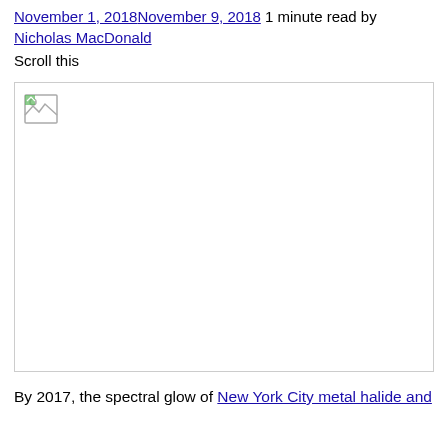November 1, 2018November 9, 2018 1 minute read by Nicholas MacDonald
Scroll this
[Figure (photo): Broken/unloaded image placeholder with a small image icon in the top-left corner, inside a bordered white rectangle.]
By 2017, the spectral glow of New York City metal halide and